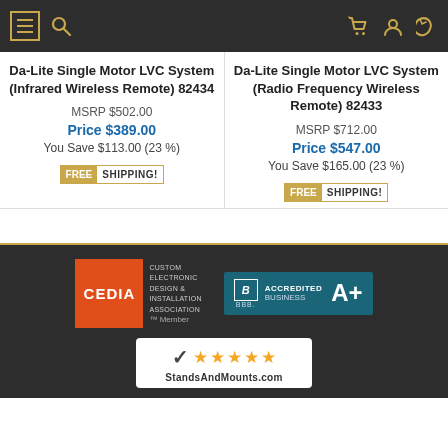Navigation bar with menu, search, phone, account, and cart icons
Da-Lite Single Motor LVC System (Infrared Wireless Remote) 82434
MSRP $502.00
Price $389.00
You Save $113.00 (23 %)
[Figure (logo): FREE SHIPPING badge]
Da-Lite Single Motor LVC System (Radio Frequency Wireless Remote) 82433
MSRP $712.00
Price $547.00
You Save $165.00 (23 %)
[Figure (logo): FREE SHIPPING badge]
[Figure (logo): CEDIA Custom Electronic Design & Installation Association Member badge]
[Figure (logo): BBB Accredited Business A+ badge]
[Figure (logo): StandsAndMounts.com 5-star reviews badge]